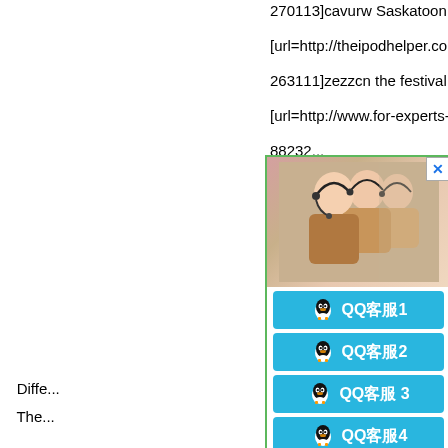270113]cavurw Saskatoon m...
[url=http://theipodhelper.com/2...
263111]zezzcn the festival did...
[url=http://www.for-experts-onl...
88232...
Auto g...
Autom...
Diffe...
The...
2, 3
5, 4 [url=https://autosteklo77...
0, 5 [url=https://autosteklo77...
0, 6 [url=https://autosteklo77...
0 mm [url=https://autosteklo7...
Do you have any questions or...
When choosing glass, the follo...
[Figure (screenshot): A popup dialog with a photo of customer service representatives wearing headsets, a close button (X) in top right, and four cyan QQ customer service buttons labeled QQ客服1, QQ客服2, QQ客服3, QQ客服4]